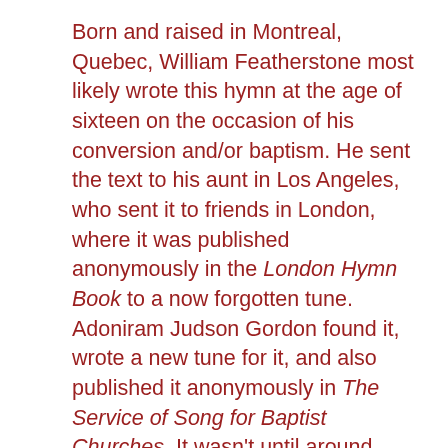Born and raised in Montreal, Quebec, William Featherstone most likely wrote this hymn at the age of sixteen on the occasion of his conversion and/or baptism. He sent the text to his aunt in Los Angeles, who sent it to friends in London, where it was published anonymously in the London Hymn Book to a now forgotten tune. Adoniram Judson Gordon found it, wrote a new tune for it, and also published it anonymously in The Service of Song for Baptist Churches. It wasn't until around 1930, fifty years after its publication, that enough research had been done to establish Featherstone as the author, who had died at the young age of 28. Today, it is a much loved hymn of assurance and confession of faith, with words of comfort and peace. And perhaps bolstering the power of the text is Featherstone's story itself. A young man with no connections, who simply wrote a poem one night about his own faith, has, unbeknownst to him, come to bless millions. God certainly works in mysterious ways to